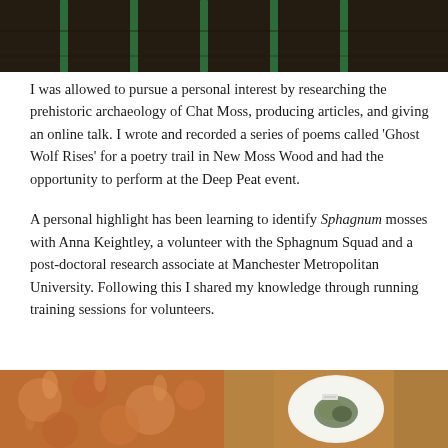[Figure (photo): Top image showing soil and green plant trays or containers from above]
I was allowed to pursue a personal interest by researching the prehistoric archaeology of Chat Moss, producing articles, and giving an online talk. I wrote and recorded a series of poems called ‘Ghost Wolf Rises’ for a poetry trail in New Moss Wood and had the opportunity to perform at the Deep Peat event.
A personal highlight has been learning to identify Sphagnum mosses with Anna Keightley, a volunteer with the Sphagnum Squad and a post-doctoral research associate at Manchester Metropolitan University. Following this I shared my knowledge through running training sessions for volunteers.
[Figure (photo): Close-up photograph of reddish-orange Sphagnum moss or similar plant material]
[Figure (photo): Close-up photograph of a moss or plant specimen on a white circular dish or plate]